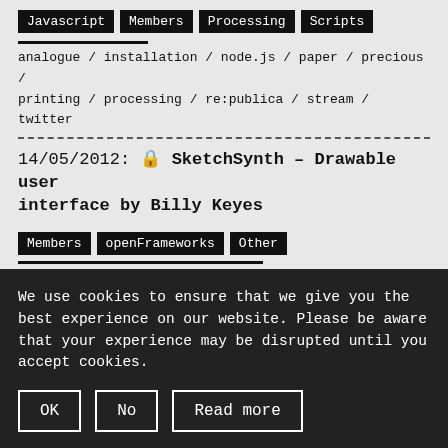Javascript | Members | Processing | Scripts
analogue / installation / node.js / paper / precious / printing / processing / re:publica / stream / twitter
14/05/2012: 🔒 SketchSynth – Drawable user interface by Billy Keyes
Members | openFrameworks | Other
billy keyes / blobs / camera / drawing / interface /
We use cookies to ensure that we give you the best experience on our website. Please be aware that your experience may be disrupted until you accept cookies.
OK | No | Read more